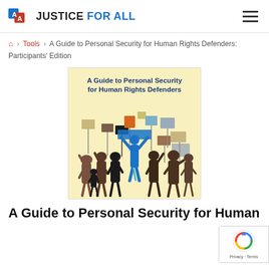JUSTICE FOR ALL
Home > Tools > A Guide to Personal Security for Human Rights Defenders: Participants' Edition
[Figure (illustration): Book cover: 'A Guide to Personal Security for Human Rights Defenders' with silhouettes of a crowd of protesters holding signs, one central figure in blue.]
A Guide to Personal Security for Human